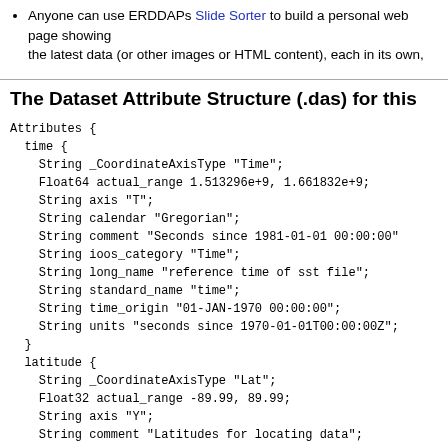Anyone can use ERDDAPs Slide Sorter to build a personal web page showing the latest data (or other images or HTML content), each in its own,
The Dataset Attribute Structure (.das) for this
Attributes {
  time {
    String _CoordinateAxisType "Time";
    Float64 actual_range 1.513296e+9, 1.661832e+9;
    String axis "T";
    String calendar "Gregorian";
    String comment "Seconds since 1981-01-01 00:00:00"
    String ioos_category "Time";
    String long_name "reference time of sst file";
    String standard_name "time";
    String time_origin "01-JAN-1970 00:00:00";
    String units "seconds since 1970-01-01T00:00:00Z";
  }
  latitude {
    String _CoordinateAxisType "Lat";
    Float32 actual_range -89.99, 89.99;
    String axis "Y";
    String comment "Latitudes for locating data";